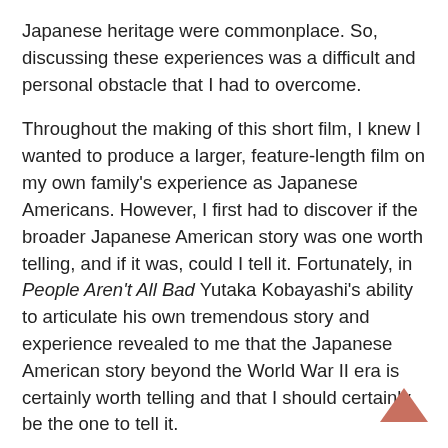Japanese heritage were commonplace. So, discussing these experiences was a difficult and personal obstacle that I had to overcome.
Throughout the making of this short film, I knew I wanted to produce a larger, feature-length film on my own family's experience as Japanese Americans. However, I first had to discover if the broader Japanese American story was one worth telling, and if it was, could I tell it. Fortunately, in People Aren't All Bad Yutaka Kobayashi's ability to articulate his own tremendous story and experience revealed to me that the Japanese American story beyond the World War II era is certainly worth telling and that I should certainly be the one to tell it.
Since then I've filmed Good Luck Soup, a feature-length documentary on my family's experience of being Japanese American in the American Midwest, and have also developed Good Luck Soup Interactive, which is a web-based interactive documentary on my family's story.